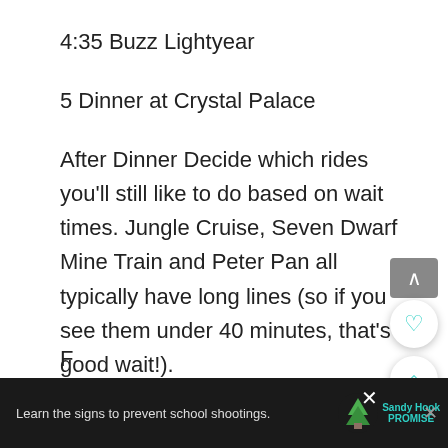4:35 Buzz Lightyear
5 Dinner at Crystal Palace
After Dinner Decide which rides you'll still like to do based on wait times. Jungle Cruise, Seven Dwarf Mine Train and Peter Pan all typically have long lines (so if you see them under 40 minutes, that's a good wait!).
Learn the signs to prevent school shootings. Sandy Hook Promise